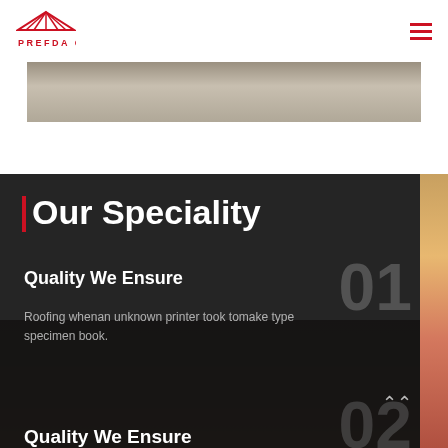PREFDA CH
[Figure (photo): Partial view of a roofing or construction site photo strip at top of page]
Our Speciality
Quality We Ensure
Roofing whenan unknown printer took tomake type specimen book.
Quality We Ensure